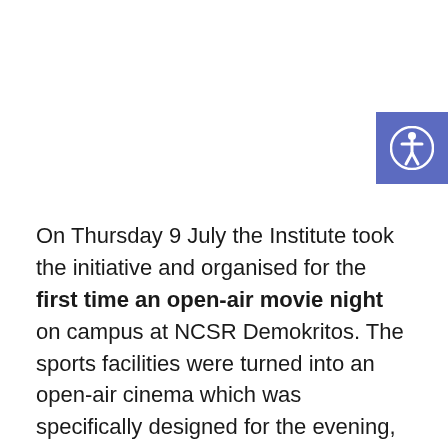[Figure (illustration): Accessibility icon button — blue/purple square with a white person/accessibility symbol (wheelchair user with circle) inside, positioned top-right corner]
On Thursday 9 July the Institute took the initiative and organised for the first time an open-air movie night on campus at NCSR Demokritos. The sports facilities were turned into an open-air cinema which was specifically designed for the evening, during which colleagues enjoyed a classic AI movie of scientific interest Blade Runner – The Director's cut accompanied by much-needed snacks  – beer, popcorn & hot dogs. The evening was a great opportunity for colleagues to come